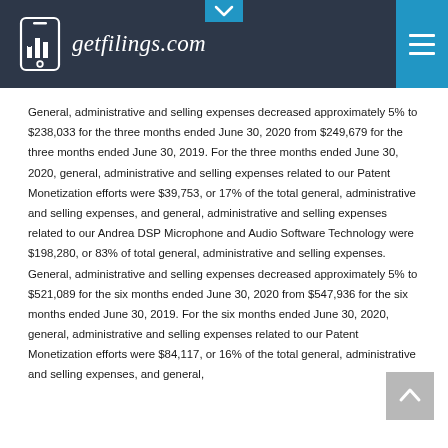getfilings.com
General, administrative and selling expenses decreased approximately 5% to $238,033 for the three months ended June 30, 2020 from $249,679 for the three months ended June 30, 2019. For the three months ended June 30, 2020, general, administrative and selling expenses related to our Patent Monetization efforts were $39,753, or 17% of the total general, administrative and selling expenses, and general, administrative and selling expenses related to our Andrea DSP Microphone and Audio Software Technology were $198,280, or 83% of total general, administrative and selling expenses. General, administrative and selling expenses decreased approximately 5% to $521,089 for the six months ended June 30, 2020 from $547,936 for the six months ended June 30, 2019. For the six months ended June 30, 2020, general, administrative and selling expenses related to our Patent Monetization efforts were $84,117, or 16% of the total general, administrative and selling expenses, and general,